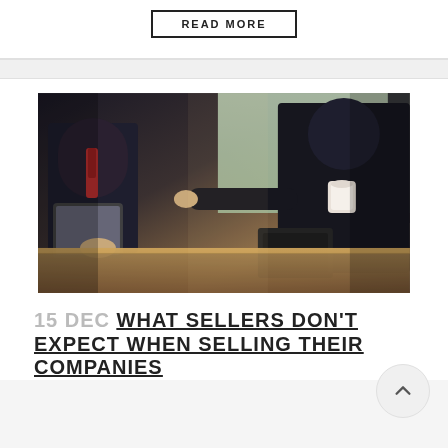READ MORE
[Figure (photo): Two businessmen in suits sitting across a wooden table, one holding a tablet, the other pointing, with a coffee cup nearby and window light in background.]
15 DEC WHAT SELLERS DON'T EXPECT WHEN SELLING THEIR COMPANIES